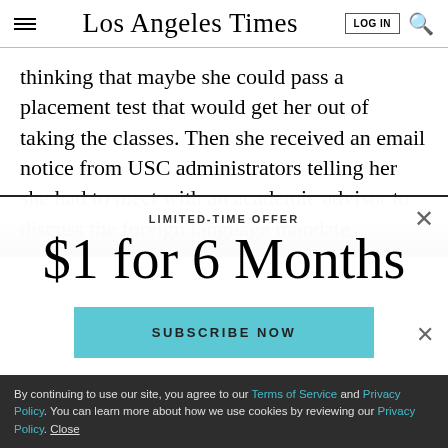Los Angeles Times
thinking that maybe she could pass a placement test that would get her out of taking the classes. Then she received an email notice from USC administrators telling her she had to meet with an academic advisor to discuss the foreign language mandate
LIMITED-TIME OFFER
$1 for 6 Months
SUBSCRIBE NOW
By continuing to use our site, you agree to our Terms of Service and Privacy Policy. You can learn more about how we use cookies by reviewing our Privacy Policy. Close